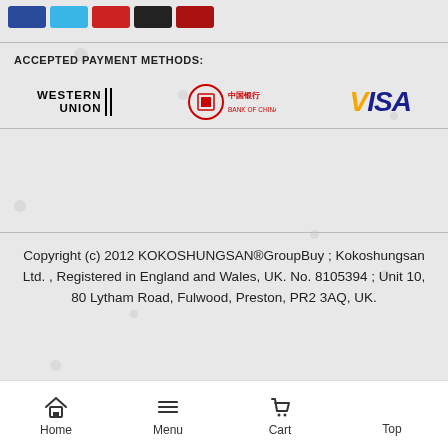[Figure (illustration): Row of five color swatches: dark blue, light blue, red, black/dark, dark red]
ACCEPTED PAYMENT METHODS:
[Figure (logo): Western Union logo, Bank of China logo, Visa logo displayed as accepted payment methods]
Copyright (c) 2012 KOKOSHUNGSAN®GroupBuy ; Kokoshungsan Ltd. , Registered in England and Wales, UK. No. 8105394 ; Unit 10, 80 Lytham Road, Fulwood, Preston, PR2 3AQ, UK.
Home | Menu | Cart | Top